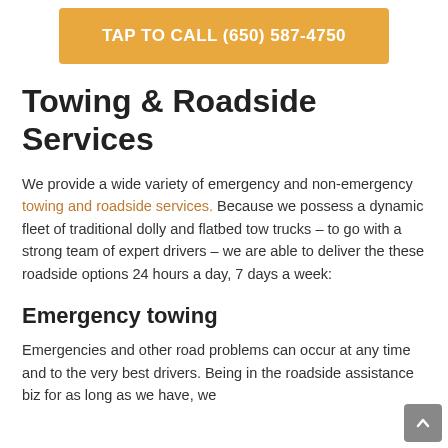TAP TO CALL (650) 587-4750
Towing & Roadside Services
We provide a wide variety of emergency and non-emergency towing and roadside services. Because we possess a dynamic fleet of traditional dolly and flatbed tow trucks – to go with a strong team of expert drivers – we are able to deliver the these roadside options 24 hours a day, 7 days a week:
Emergency towing
Emergencies and other road problems can occur at any time and to the very best drivers. Being in the roadside assistance biz for as long as we have, we